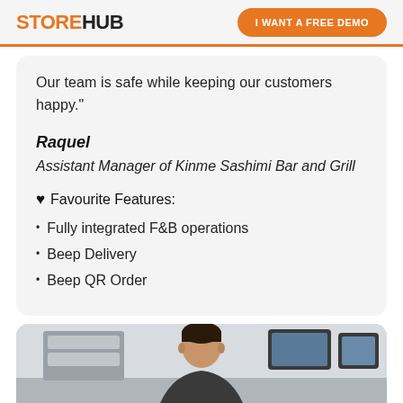STOREHUB  |  I WANT A FREE DEMO
Our team is safe while keeping our customers happy."
Raquel
Assistant Manager of Kinme Sashimi Bar and Grill
♥ Favourite Features:
Fully integrated F&B operations
Beep Delivery
Beep QR Order
[Figure (photo): Photo of a person in a restaurant setting with display screens visible in the background]